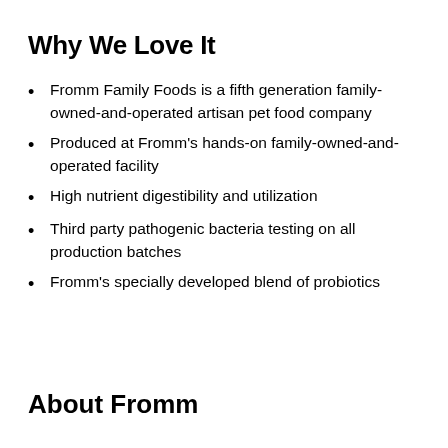Why We Love It
Fromm Family Foods is a fifth generation family-owned-and-operated artisan pet food company
Produced at Fromm's hands-on family-owned-and-operated facility
High nutrient digestibility and utilization
Third party pathogenic bacteria testing on all production batches
Fromm's specially developed blend of probiotics
About Fromm